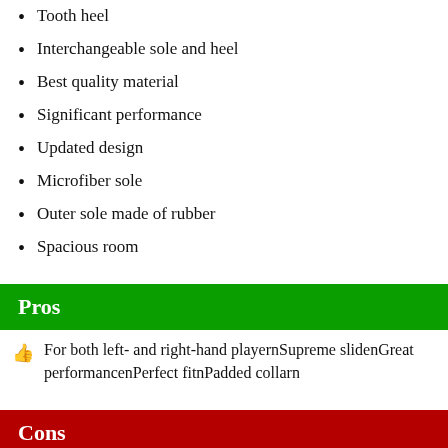Tooth heel
Interchangeable sole and heel
Best quality material
Significant performance
Updated design
Microfiber sole
Outer sole made of rubber
Spacious room
Pros
For both left- and right-hand playernSupreme slidenGreat performancenPerfect fitnPadded collarn
Cons
CostlynNot Long-lastingn